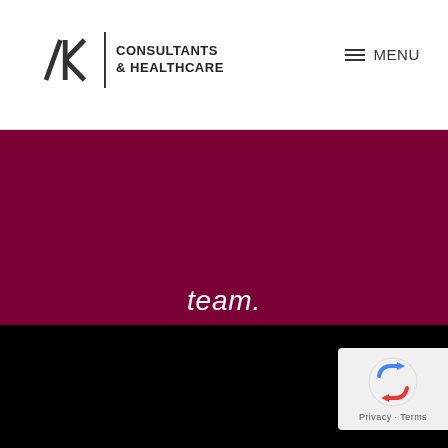[Figure (logo): AK Consultants & Healthcare logo in header, dark text on white background]
≡ MENU
team.
LEARN MORE
[Figure (logo): AK Consultants & Healthcare logo in footer, white text on black background]
Growth Management for Healthcare Organizatio